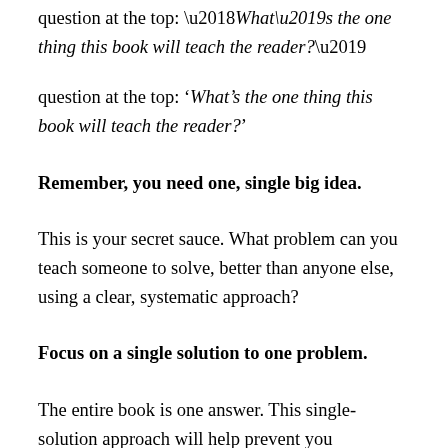question at the top: ‘What’s the one thing this book will teach the reader?’
Remember, you need one, single big idea.
This is your secret sauce. What problem can you teach someone to solve, better than anyone else, using a clear, systematic approach?
Focus on a single solution to one problem.
The entire book is one answer. This single-solution approach will help prevent you